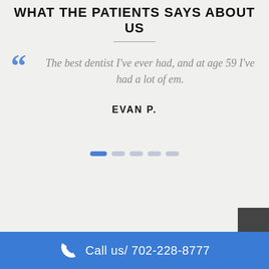WHAT THE PATIENTS SAYS ABOUT US
The best dentist I've ever had, and at age 59 I've had a lot of em.
EVAN P.
Call us/ 702-228-8777